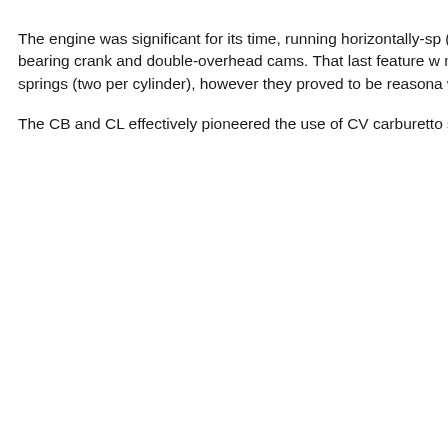The engine was significant for its time, running horizontally-sp (minimising the oil leaks so typical in vertically-split British par bearing crank and double-overhead cams. That last feature w motorcycles. People tended to look askance at the use of tors springs (two per cylinder), however they proved to be reasona was adjusted by eccentric-mount shafts.
The CB and CL effectively pioneered the use of CV carburetto something that remained an industry design mainstay for deca